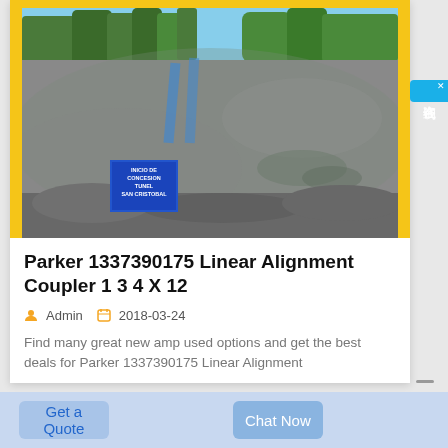[Figure (photo): Outdoor photo of a large concrete/rock tunnel wall with trees and blue sky visible at the top. A blue sign reads 'INICIO DE CONCESION TUNEL SAN CRISTOBAL' in the lower-left area. Two blue painted stripes are visible on the rock face.]
Parker 1337390175 Linear Alignment Coupler 1 3 4 X 12
Admin   2018-03-24
Find many great new amp used options and get the best deals for Parker 1337390175 Linear Alignment
Get a Quote
Chat Now